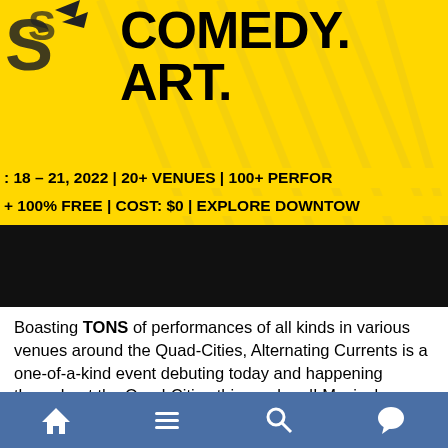[Figure (illustration): Event banner for Alternating Currents festival with yellow background, bold black text reading COMEDY. ART., event details: 18-21 2022, 20+ venues, 100+ performers, 100% free, cost $0, explore downtown. Black bar at bottom of banner.]
Boasting TONS of performances of all kinds in various venues around the Quad-Cities, Alternating Currents is a one-of-a-kind event debuting today and happening throughout the Quad-Cities this weekend! Musical performances but with a twist Take a look at some of these ART/EXPERIMENTAL artists that will be performing at Alternating Currents 2022! Download the AC App to start crafting your schedule
Home | Menu | Search | Chat (navigation icons)